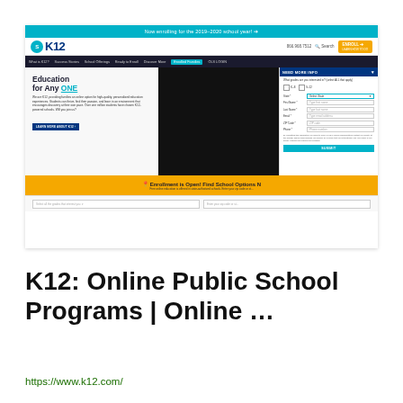[Figure (screenshot): Screenshot of K12.com website showing the homepage with navigation bar, 'Education for Any ONE' hero section, a 'NEED MORE INFO' enrollment form on the right, yellow enrollment banner at the bottom, and grade/zip code search fields.]
K12: Online Public School Programs | Online …
https://www.k12.com/